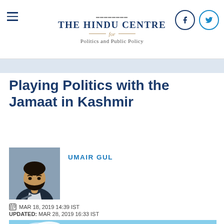THE HINDU CENTRE for Politics and Public Policy
Playing Politics with the Jamaat in Kashmir
UMAIR GUL
MAR 18, 2019 14:39 IST
UPDATED: MAR 28, 2019 16:33 IST
[Figure (photo): Protest photo showing people holding signs reading 'REVOKE BAN ON JAMAAT-E-ISLAMI' and 'STOP CRIMINALIZING JAMAAT-E-ISLAMI' outdoors with bare trees and blue sky]